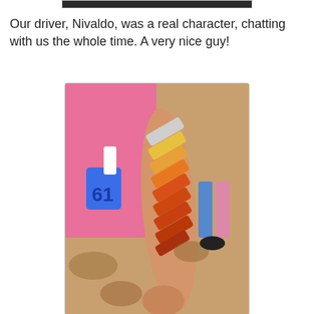[Figure (photo): Top portion of a photo showing a dark/blurred image, partially cropped at the top of the page]
Our driver, Nivaldo, was a real character, chatting with us the whole time. A very nice guy!
[Figure (photo): A person wearing a pink t-shirt with a logo, extending their arm showing multiple colored paint or clay swatches applied in diagonal stripes along the forearm and hand. Colors range from white/gray at top through yellow, orange shades to darker orange/red at the bottom. Background shows sandy ground with shadows.]